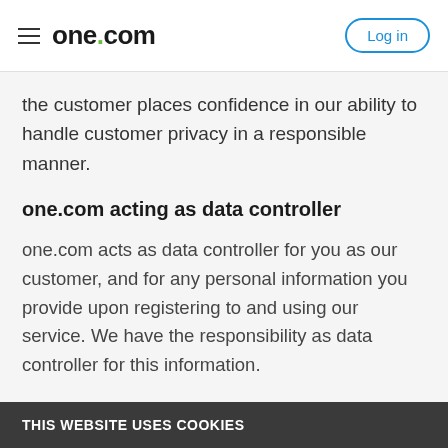one.com — Log in
the customer places confidence in our ability to handle customer privacy in a responsible manner.
one.com acting as data controller
one.com acts as data controller for you as our customer, and for any personal information you provide upon registering to and using our service. We have the responsibility as data controller for this information.
THIS WEBSITE USES COOKIES